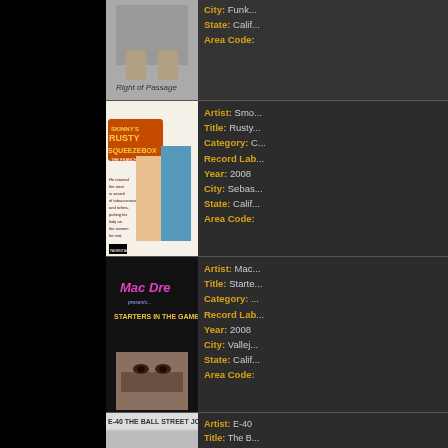[Figure (photo): Album art - Rite of Passage (partially visible at top)]
City: Funk... State: Calif... Area Code:
[Figure (photo): Album art - Skinny's Rusty Squeezebox - The Franchising Cowboy]
Artist: Smo... Title: Rusty... Category: C... Record Lab... Year: 2008 City: Sebas... State: Calif... Area Code:
[Figure (photo): Album art - Mac Dre Presents... Starters in the Game]
Artist: Mac... Title: Starte... Category:... Record Lab... Year: 2008 City: Vallejo... State: Calif... Area Code:
[Figure (photo): Album art - E-40 The Ball Street Journal (partially visible at bottom)]
Artist: E-40 Title: The B...